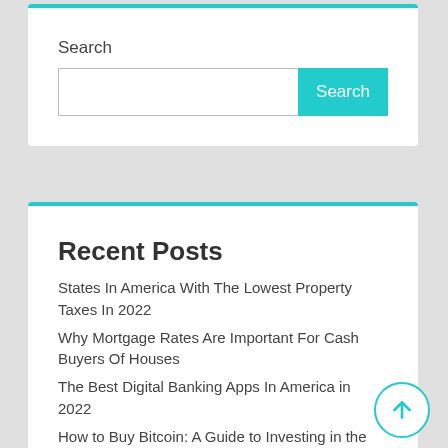Search
[Figure (screenshot): Search input field with a teal Search button]
Recent Posts
States In America With The Lowest Property Taxes In 2022
Why Mortgage Rates Are Important For Cash Buyers Of Houses
The Best Digital Banking Apps In America in 2022
How to Buy Bitcoin: A Guide to Investing in the Cryptocurrency in 2022
The Highest-Paying Jobs in the World (2022)